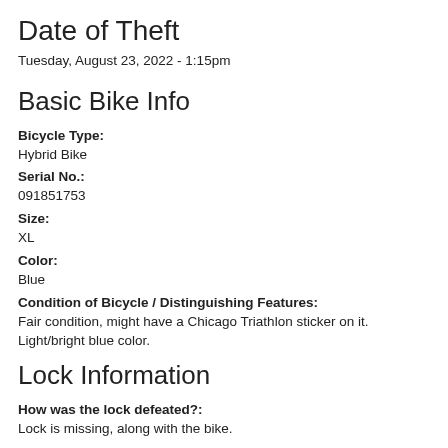Date of Theft
Tuesday, August 23, 2022 - 1:15pm
Basic Bike Info
Bicycle Type:
Hybrid Bike
Serial No.:
091851753
Size:
XL
Color:
Blue
Condition of Bicycle / Distinguishing Features:
Fair condition, might have a Chicago Triathlon sticker on it. Light/bright blue color.
Lock Information
How was the lock defeated?:
Lock is missing, along with the bike.